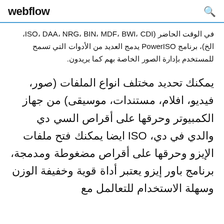webflow
في الوقت الحاضر (ISO، DAA، NRG، BIN، MDF، BWI، CDI، الخ)، برنامج PowerISO يدمج العديد من الأدوات التي تسمح للمستخدم بإدارة الصور الخاصة بهم كما يريدون.
يمكنك تحديد مختلف انواع الملفات (صور، فيديو، افلام، مستندات، موسيقى) من جهاز الكمبيوتر وحرقها على أقراص السي دي والدي في دي، ISO ايضا يمكنك فتح ملفات الإيزو وحرقها على أقراص مضغوطة ومدمجة، برنامج باور إيزو يعتبر أداة قوية وخفيفة الوزن وسهلة الاستخدام للتعالمل مع